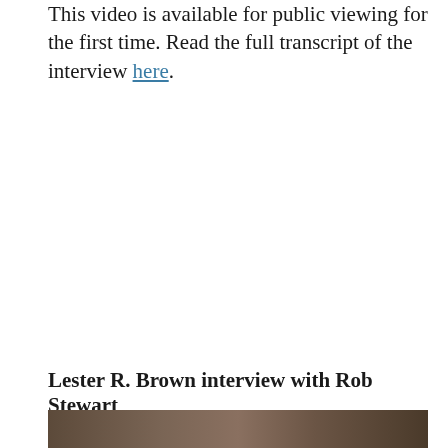This video is available for public viewing for the first time. Read the full transcript of the interview here.
Lester R. Brown interview with Rob Stewart
[Figure (photo): Partial view of a photograph showing two people in an interview setting, visible at the bottom of the page.]